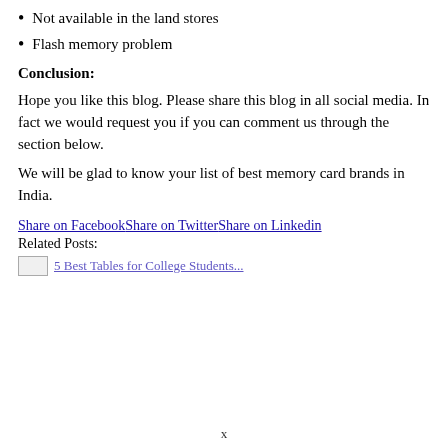Not available in the land stores
Flash memory problem
Conclusion:
Hope you like this blog. Please share this blog in all social media. In fact we would request you if you can comment us through the section below.
We will be glad to know your list of best memory card brands in India.
Share on FacebookShare on TwitterShare on Linkedin
Related Posts:
5 Best Tables for College Students...